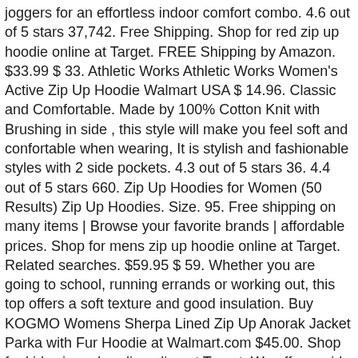joggers for an effortless indoor comfort combo. 4.6 out of 5 stars 37,742. Free Shipping. Shop for red zip up hoodie online at Target. FREE Shipping by Amazon. $33.99 $ 33. Athletic Works Athletic Works Women's Active Zip Up Hoodie Walmart USA $ 14.96. Classic and Comfortable. Made by 100% Cotton Knit with Brushing in side , this style will make you feel soft and confortable when wearing, It is stylish and fashionable styles with 2 side pockets. 4.3 out of 5 stars 36. 4.4 out of 5 stars 660. Zip Up Hoodies for Women (50 Results) Zip Up Hoodies. Size. 95. Free shipping on many items | Browse your favorite brands | affordable prices. Shop for mens zip up hoodie online at Target. Related searches. $59.95 $ 59. Whether you are going to school, running errands or working out, this top offers a soft texture and good insulation. Buy KOGMO Womens Sherpa Lined Zip Up Anorak Jacket Parka with Fur Hoodie at Walmart.com $45.00. Shop for kids zip up hoodie online at Target. We offer a wide selection of wholesale blank zip up hoodies from Dodger and Gildan. TAM WARE Women Slim fit Zip-up Hoodie Jacket This slim fit hoodie jacket that is